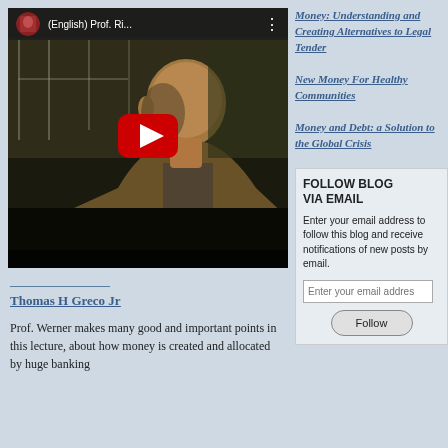[Figure (screenshot): YouTube video thumbnail showing a bald man in a jacket with a play button overlay. Video title bar shows '(English) Prof. Ri...' with a circular icon on the left.]
___________
Thomas H Greco Jr
Prof. Werner makes many good and important points in this lecture, about how money is created and allocated by huge banking
Money: Understanding and Creating Alternatives to Legal Tender
New Money For Healthy Communities
Money and Debt: a Solution to the Global Crisis
FOLLOW BLOG VIA EMAIL
Enter your email address to follow this blog and receive notifications of new posts by email.
Enter your email addres
Follow